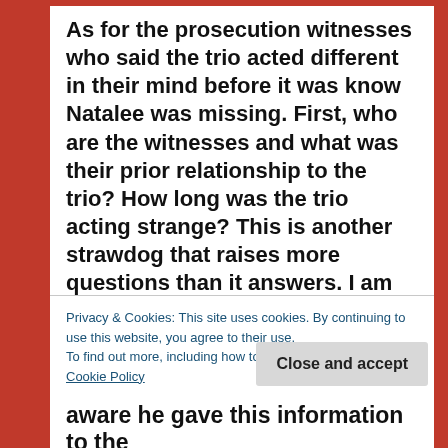As for the prosecution witnesses who said the trio acted different in their mind before it was know Natalee was missing. First, who are the witnesses and what was their prior relationship to the trio? How long was the trio acting strange? This is another strawdog that raises more questions than it answers. I am sure I could find a witness to say even you acted strange before Natalee was known to be missing. Also, I confess that I acted bizarre before and after 911.
Privacy & Cookies: This site uses cookies. By continuing to use this website, you agree to their use.
To find out more, including how to control cookies, see here: Cookie Policy
Close and accept
aware he gave this information to the